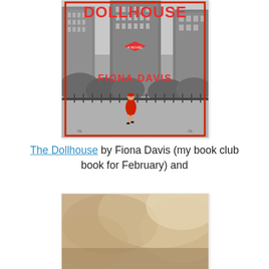[Figure (photo): Book cover of 'The Dollhouse' by Fiona Davis — black and white photo of city buildings (Central Park area, NYC) with a woman in a red dress walking in the foreground; title 'DOLLHOUSE' in large red letters at top, author name 'FIONA DAVIS' in red letters in lower middle, red decorative border frame, small red diamond badge reading 'A NOVEL']
The Dollhouse by Fiona Davis (my book club book for February) and
[Figure (photo): Partial book cover image — warm sepia/beige toned background, top portion of another book cover visible, content unclear]